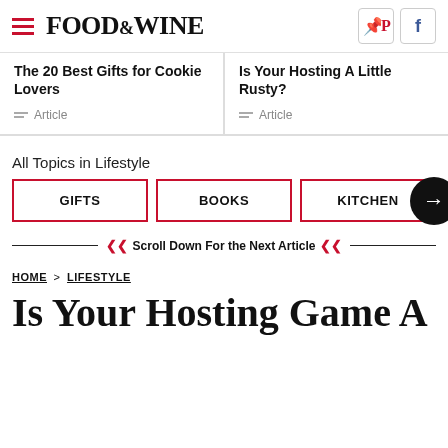FOOD & WINE
The 20 Best Gifts for Cookie Lovers — Article
Is Your Hosting A Little Rusty? — Article
All Topics in Lifestyle
GIFTS
BOOKS
KITCHEN
Scroll Down For the Next Article
HOME > LIFESTYLE
Is Your Hosting Game A